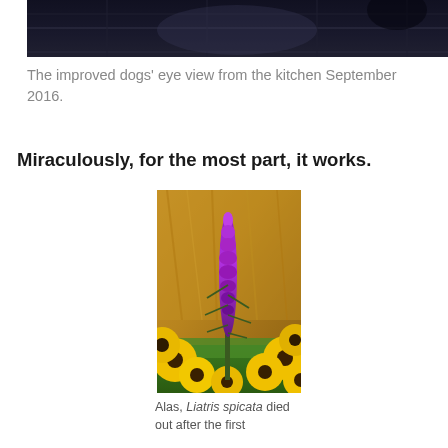[Figure (photo): Top portion of a dark kitchen floor photo showing stone tiles with dark lighting, dogs-eye view]
The improved dogs' eye view from the kitchen September 2016.
Miraculously, for the most part, it works.
[Figure (photo): A tall purple Liatris spicata flower spike surrounded by yellow black-eyed Susan flowers with a blurred brown background]
Alas, Liatris spicata died out after the first